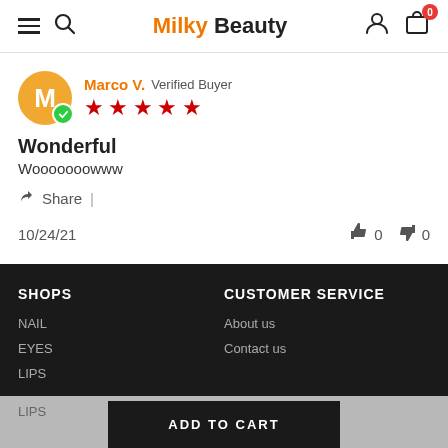Milky Beauty – navigation header with hamburger menu, search, logo, user icon, and cart (0)
Marco V. Verified Buyer – 5 stars
Wonderful
Wooooooowww
Share | 10/24/21 👍 0 👎 0
SHOPS: NAIL, EYES, LIPS | CUSTOMER SERVICE: About us, Contact us | ADD TO CART